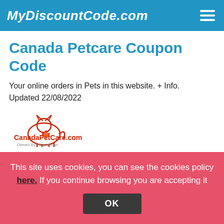MyDiscountCode.com
Canada Petcare Coupon Code
Your online orders in Pets in this website. + Info. Updated 22/08/2022
[Figure (logo): CanadaPetCare.com logo with red maple leaf dog/cat icon and text 'CanadaPetCare.com Owned By Veterinarian']
Canada Petcare Promo Code
This site uses cookies, you can see the cookies policy here. If you continue browsing you are accepting it
OK